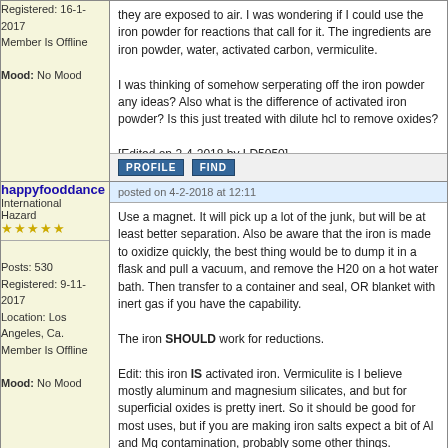Registered: 16-1-2017
Member Is Offline
Mood: No Mood
they are exposed to air. I was wondering if I could use the iron powder for reactions that call for it. The ingredients are iron powder, water, activated carbon, vermiculite.

I was thinking of somehow serperating off the iron powder any ideas? Also what is the difference of activated iron powder? Is this just treated with dilute hcl to remove oxides?

[Edited on 2-4-2018 by LD5050]
PROFILE   FIND
happyfooddance
International Hazard
★★★★★
posted on 4-2-2018 at 12:11
Posts: 530
Registered: 9-11-2017
Location: Los Angeles, Ca.
Member Is Offline
Mood: No Mood
Use a magnet. It will pick up a lot of the junk, but will be at least better separation. Also be aware that the iron is made to oxidize quickly, the best thing would be to dump it in a flask and pull a vacuum, and remove the H20 on a hot water bath. Then transfer to a container and seal, OR blanket with inert gas if you have the capability.

The iron SHOULD work for reductions.

Edit: this iron IS activated iron. Vermiculite is I believe mostly aluminum and magnesium silicates, and but for superficial oxides is pretty inert. So it should be good for most uses, but if you are making iron salts expect a bit of Al and Mg contamination, probably some other things.

Also, use a plastic bag around the magnet. It makes it easier to